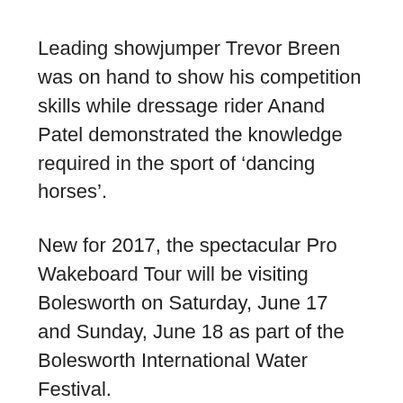Leading showjumper Trevor Breen was on hand to show his competition skills while dressage rider Anand Patel demonstrated the knowledge required in the sport of ‘dancing horses’.
New for 2017, the spectacular Pro Wakeboard Tour will be visiting Bolesworth on Saturday, June 17 and Sunday, June 18 as part of the Bolesworth International Water Festival.
The event will see some of the best wakeboarders in the world battle it out in a spectacular head to head style contest on a purpose-built, world class wakeboard park. Set to be a massive crowd-pleaser, the event will include athletes from the UK and Europe, as well as world champion medalists, all competing against each other in